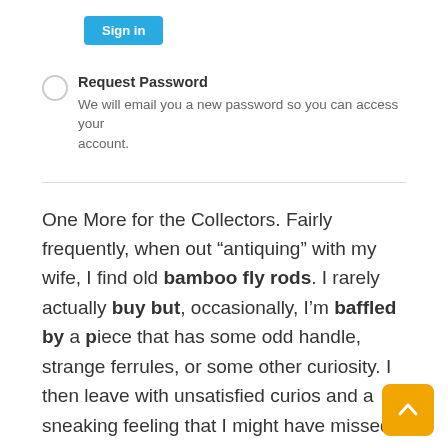[Figure (other): Blue 'Sign in' button]
Request Password
We will email you a new password so you can access your account.
One More for the Collectors. Fairly frequently, when out “antiquing” with my wife, I find old bamboo fly rods. I rarely actually buy but, occasionally, I’m baffled by a piece that has some odd handle, strange ferrules, or some other curiosity. I then leave with unsatisfied curios and a sneaking feeling that I might have missed
[Figure (other): Orange scroll-to-top arrow button in bottom right corner]